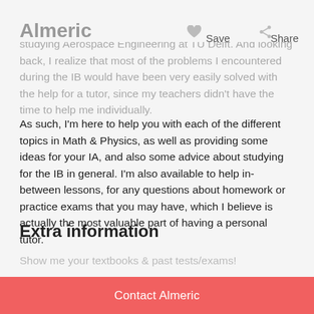Almeric   Save   Share
therefore I'm very much familiar with the problems that students face during IB Math & Physics. I'm currently studying Aerospace Engineering at TU Delft. And looking back, I realize that most of the problems I encountered during the IB would have been very easily solved with the help for a tutor, since my teachers didn't have the time to help me individually.
As such, I'm here to help you with each of the different topics in Math & Physics, as well as providing some ideas for your IA, and also some advice about studying for the IB in general. I'm also available to help in-between lessons, for any questions about homework or practice exams that you may have, which I believe is actually the most valuable part of having a personal tutor.
Extra information
Show me your textbooks & past tests/exams!
Contact Almeric